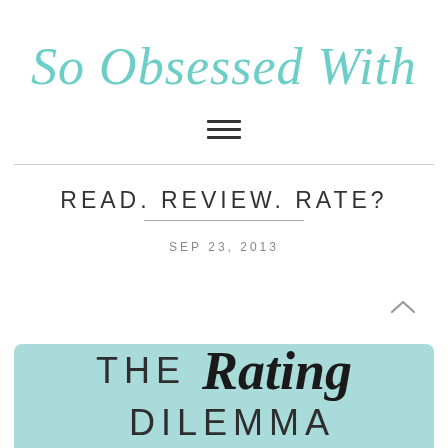So Obsessed With
[Figure (other): Hamburger/navigation menu icon with three horizontal lines]
READ. REVIEW. RATE?
SEP 23, 2013
[Figure (illustration): Teal/mint colored feature image block with text 'THE Rating DILEMMA' partially visible at bottom of page]